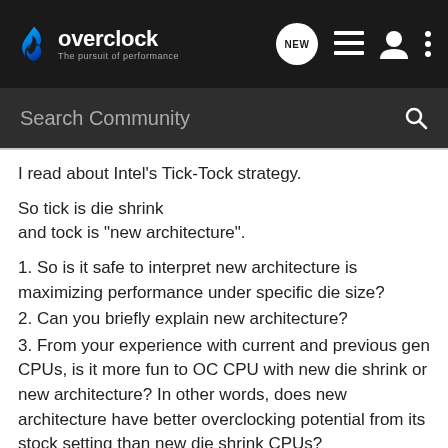overclock — The pursuit of performance
Search Community
I read about Intel's Tick-Tock strategy.

So tick is die shrink
and tock is "new architecture".
1. So is it safe to interpret new architecture is maximizing performance under specific die size?
2. Can you briefly explain new architecture?
3. From your experience with current and previous gen CPUs, is it more fun to OC CPU with new die shrink or new architecture? In other words, does new architecture have better overclocking potential from its stock setting than new die shrink CPUs?
I'm considering Ivy Bridge, but more importantly I love crazy